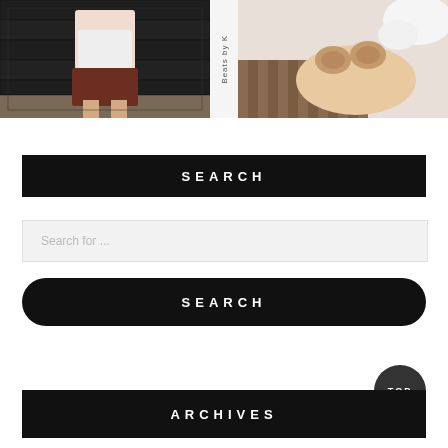[Figure (photo): Left: woman wearing brown corduroy skirt and white sweater standing in front of dark garage door. Middle: vertical text label 'Beats by K'. Right: person holding small tan/brown wireless earbuds in their palm.]
SEARCH
Search for ...
SEARCH
TOP
ARCHIVES